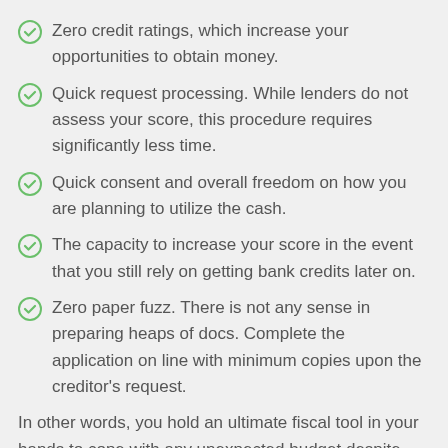Zero credit ratings, which increase your opportunities to obtain money.
Quick request processing. While lenders do not assess your score, this procedure requires significantly less time.
Quick consent and overall freedom on how you are planning to utilize the cash.
The capacity to increase your score in the event that you still rely on getting bank credits later on.
Zero paper fuzz. There is not any sense in preparing heaps of docs. Complete the application on line with minimum copies upon the creditor's request.
In other words, you hold an ultimate fiscal tool in your hands to cope with any unexpected budget despite the credit score.